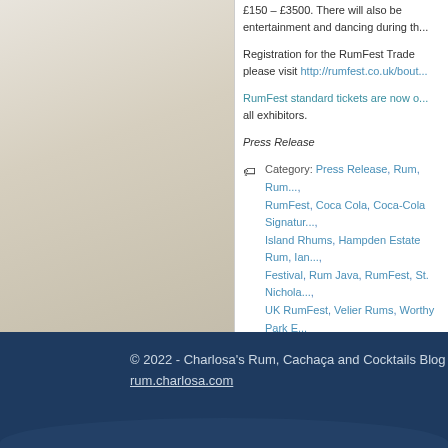[Figure (photo): Sandy beach background with footprints visible in the sand, occupying the left panel of the page layout]
£150 – £3500. There will also be entertainment and dancing during th...
Registration for the RumFest Trade please visit http://rumfest.co.uk/bout...
RumFest standard tickets are now o... all exhibitors.
Press Release
Category: Press Release, Rum, Rum..., RumFest, Coca Cola, Coca-Cola Signatur..., Island Rhums, Hampden Estate Rum, Ian..., Festival, Rum Java, RumFest, St. Nichola..., UK RumFest, Velier Rums, Worthy Park E...
© 2022 - Charlosa's Rum, Cachaça and Cocktails Blog
rum.charlosa.com